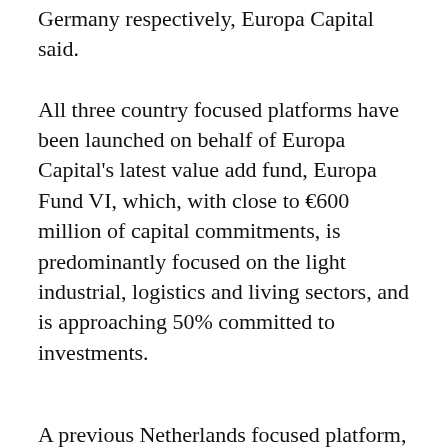Germany respectively, Europa Capital said.
All three country focused platforms have been launched on behalf of Europa Capital's latest value add fund, Europa Fund VI, which, with close to €600 million of capital commitments, is predominantly focused on the light industrial, logistics and living sectors, and is approaching 50% committed to investments.
A previous Netherlands focused platform, the Dutch Urban Light Industrial Platform, which was launched in 2019, on behalf of Europa Fund V, in partnership with ARC, established